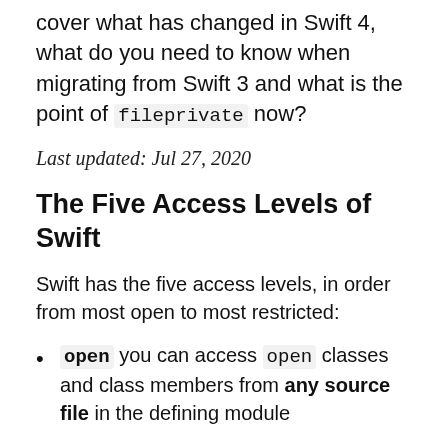cover what has changed in Swift 4, what do you need to know when migrating from Swift 3 and what is the point of fileprivate now?
Last updated: Jul 27, 2020
The Five Access Levels of Swift
Swift has the five access levels, in order from most open to most restricted:
open you can access open classes and class members from any source file in the defining module